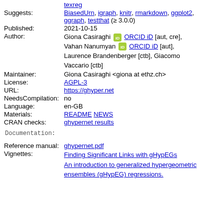texreg (link at top, truncated)
Suggests: BiasedUrn, igraph, knitr, rmarkdown, ggplot2, ggraph, testthat (≥ 3.0.0)
Published: 2021-10-15
Author: Giona Casiraghi [ORCID iD] [aut, cre], Vahan Nanumyan [ORCID iD] [aut], Laurence Brandenberger [ctb], Giacomo Vaccario [ctb]
Maintainer: Giona Casiraghi <giona at ethz.ch>
License: AGPL-3
URL: https://ghyper.net
NeedsCompilation: no
Language: en-GB
Materials: README NEWS
CRAN checks: ghypernet results
Documentation:
Reference manual: ghypernet.pdf
Vignettes: Finding Significant Links with gHypEGs
An introduction to generalized hypergeometric ensembles (gHypEG) regressions.